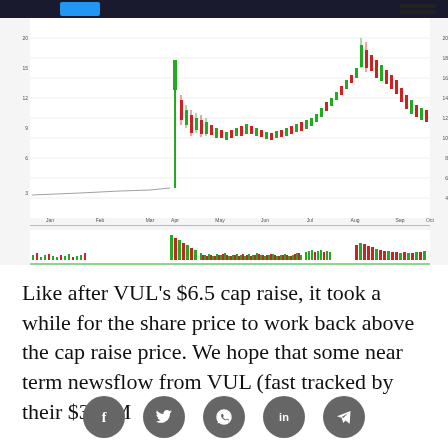[Figure (screenshot): Stock price chart for VUL (or similar ticker) showing candlestick price history with a large spike followed by a recovery and second peak, plus volume bars at the bottom. Chart appears to be from a financial charting platform.]
Like after VUL’s $6.5 cap raise, it took a while for the share price to work back above the cap raise price. We hope that some near term newsflow from VUL (fast tracked by their $300M
[Figure (infographic): Social media sharing icons: Facebook, Twitter, WhatsApp, LinkedIn, Telegram]